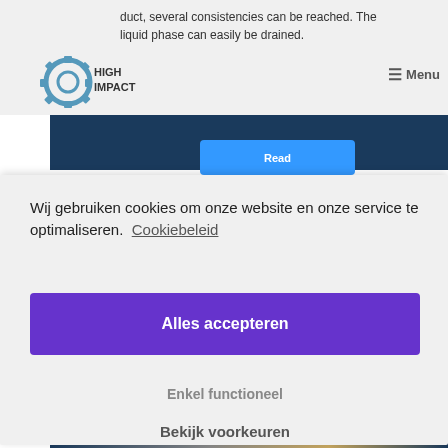[Figure (screenshot): Website header screenshot showing High Impact logo, navigation text, dark blue banner, and a blue button partially visible behind the cookie consent overlay]
Wij gebruiken cookies om onze website en onze service te optimaliseren.  Cookiebeleid
Alles accepteren
Enkel functioneel
Bekijk voorkeuren